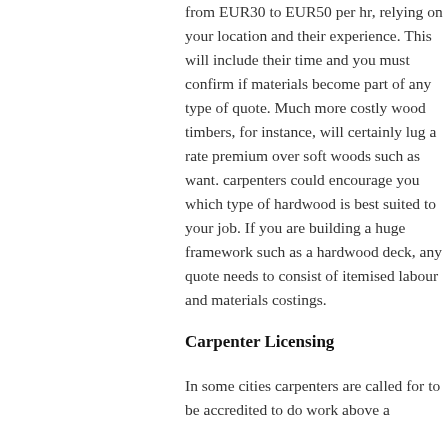from EUR30 to EUR50 per hr, relying on your location and their experience. This will include their time and you must confirm if materials become part of any type of quote. Much more costly wood timbers, for instance, will certainly lug a rate premium over soft woods such as want. carpenters could encourage you which type of hardwood is best suited to your job. If you are building a huge framework such as a hardwood deck, any quote needs to consist of itemised labour and materials costings.
Carpenter Licensing
In some cities carpenters are called for to be accredited to do work above a